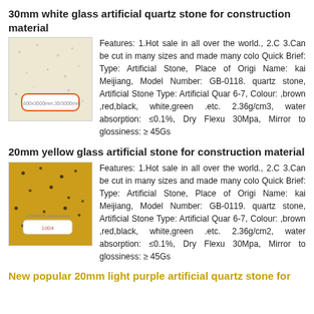30mm white glass artificial quartz stone for construction material
[Figure (photo): Photo of a white/cream quartz stone slab with speckled texture and a product label sticker]
Features: 1.Hot sale in all over the world., 2.C... 3.Can be cut in many sizes and made many colo... Quick Brief: Type: Artificial Stone, Place of Origi... Name: kai Meijiang, Model Number: GB-0118... quartz stone, Artificial Stone Type: Artificial Quar... 6-7, Colour: ,brown ,red,black, white,green .etc.... 2.36g/cm3, water absorption: ≤0.1%, Dry Flexu... 30Mpa, Mirror to glossiness: ≥ 45Gs
20mm yellow glass artificial stone for construction material
[Figure (photo): Photo of a yellow quartz stone slab with dark speckled texture and a product label sticker]
Features: 1.Hot sale in all over the world., 2.C... 3.Can be cut in many sizes and made many colo... Quick Brief: Type: Artificial Stone, Place of Origi... Name: kai Meijiang, Model Number: GB-0119... quartz stone, Artificial Stone Type: Artificial Quar... 6-7, Colour: ,brown ,red,black, white,green .etc.... 2.36g/cm2, water absorption: ≤0.1%, Dry Flexu... 30Mpa, Mirror to glossiness: ≥ 45Gs
New popular 20mm light purple artificial quartz stone for